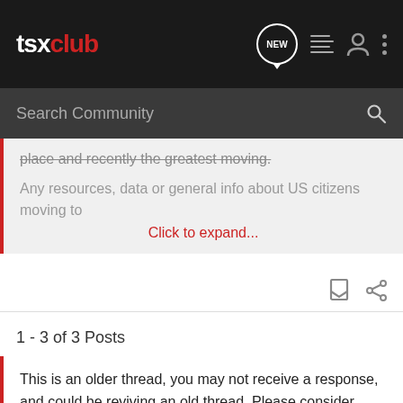tsx club — NEW [header icons]
Search Community
place and recently the greatest moving.
Any resources, data or general info about US citizens moving to
Click to expand...
1 - 3 of 3 Posts
This is an older thread, you may not receive a response, and could be reviving an old thread. Please consider creating a new thread.
Join the discussion